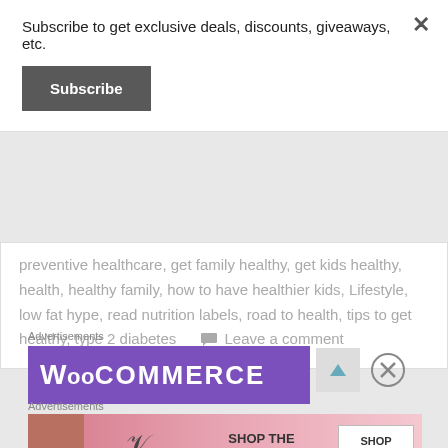Subscribe to get exclusive deals, discounts, giveaways, etc.
Subscribe
preventive healthcare, get family healthy, get kids healthy, health, healthy family, how to have healthier kids, Lifestyle, low fat hype, read nutrition labels, road to health, tips to get healthy, type 2 diabetes     Leave a comment
Advertisements
[Figure (screenshot): WooCommerce advertisement banner with purple background and white text logo]
Advertisements
[Figure (screenshot): Victoria's Secret advertisement banner with pink gradient background, model photo, VS logo, 'SHOP THE COLLECTION' text, and 'SHOP NOW' button]